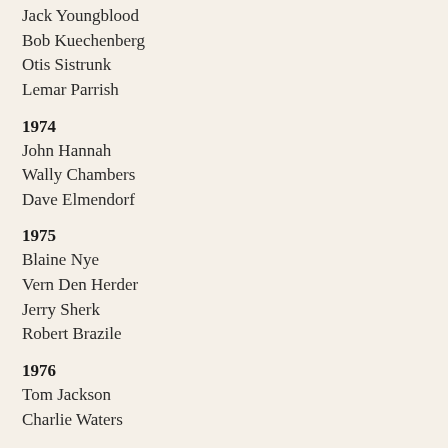Jack Youngblood
Bob Kuechenberg
Otis Sistrunk
Lemar Parrish
1974
John Hannah
Wally Chambers
Dave Elmendorf
1975
Blaine Nye
Vern Den Herder
Jerry Sherk
Robert Brazile
1976
Tom Jackson
Charlie Waters
1977
Steve Nelson